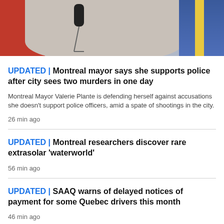[Figure (photo): Photo of a woman speaking at a microphone outdoors, with red and blue elements in the background]
UPDATED | Montreal mayor says she supports police after city sees two murders in one day
Montreal Mayor Valerie Plante is defending herself against accusations she doesn't support police officers, amid a spate of shootings in the city.
26 min ago
UPDATED | Montreal researchers discover rare extrasolar 'waterworld'
56 min ago
UPDATED | SAAQ warns of delayed notices of payment for some Quebec drivers this month
46 min ago